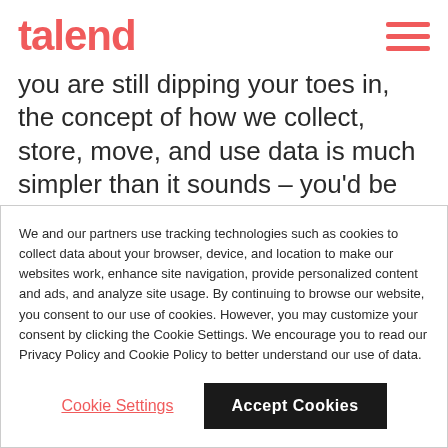talend
you are still dipping your toes in, the concept of how we collect, store, move, and use data is much simpler than it sounds – you'd be surprised how much of your day-to-day already revolves around it.
We and our partners use tracking technologies such as cookies to collect data about your browser, device, and location to make our websites work, enhance site navigation, provide personalized content and ads, and analyze site usage. By continuing to browse our website, you consent to our use of cookies. However, you may customize your consent by clicking the Cookie Settings. We encourage you to read our Privacy Policy and Cookie Policy to better understand our use of data.
Cookie Settings
Accept Cookies